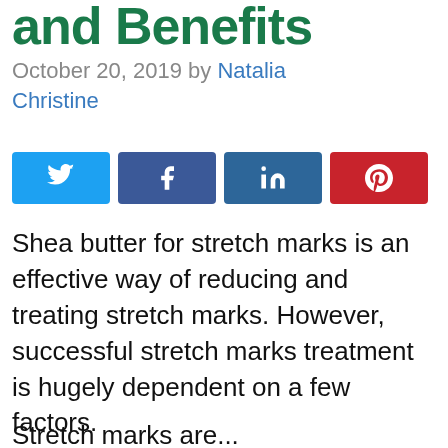and Benefits
October 20, 2019 by Natalia Christine
[Figure (other): Social share buttons: Twitter, Facebook, LinkedIn, Pinterest]
Shea butter for stretch marks is an effective way of reducing and treating stretch marks. However, successful stretch marks treatment is hugely dependent on a few factors.
Stretch marks are ...